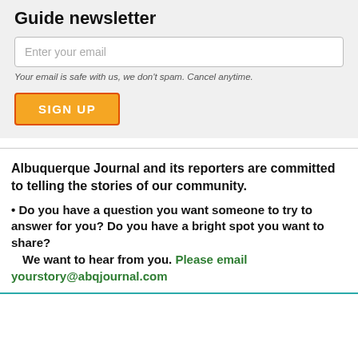Guide newsletter
Enter your email
Your email is safe with us, we don't spam. Cancel anytime.
SIGN UP
Albuquerque Journal and its reporters are committed to telling the stories of our community.
• Do you have a question you want someone to try to answer for you? Do you have a bright spot you want to share?
    We want to hear from you. Please email yourstory@abqjournal.com